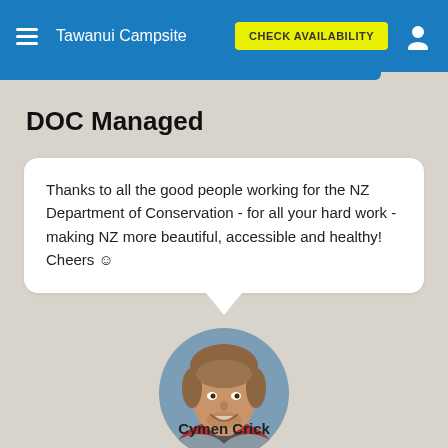Tawanui Campsite  CHECK AVAILABILITY
DOC Managed
Thanks to all the good people working for the NZ Department of Conservation - for all your hard work - making NZ more beautiful, accessible and healthy! Cheers ☺
[Figure (photo): Circular portrait photo of a man with medium-length brown hair, smiling, wearing a red and grey jacket]
Cymen Crick